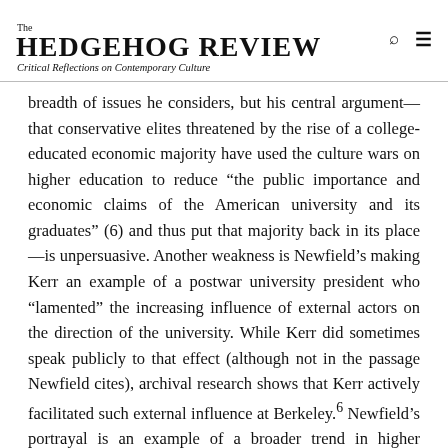The HEDGEHOG REVIEW
Critical Reflections on Contemporary Culture
breadth of issues he considers, but his central argument—that conservative elites threatened by the rise of a college-educated economic majority have used the culture wars on higher education to reduce "the public importance and economic claims of the American university and its graduates" (6) and thus put that majority back in its place—is unpersuasive. Another weakness is Newfield's making Kerr an example of a postwar university president who "lamented" the increasing influence of external actors on the direction of the university. While Kerr did sometimes speak publicly to that effect (although not in the passage Newfield cites), archival research shows that Kerr actively facilitated such external influence at Berkeley.⁶ Newfield's portrayal is an example of a broader trend in higher education literature to lionize Kerr as a champion of state